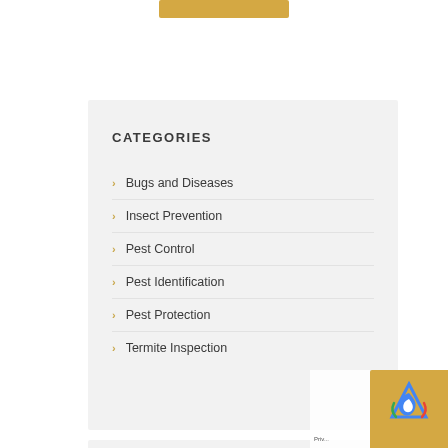CATEGORIES
Bugs and Diseases
Insect Prevention
Pest Control
Pest Identification
Pest Protection
Termite Inspection